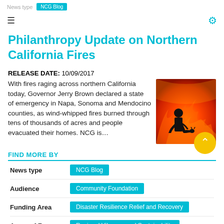News type  NCG Blog
Philanthropy Update on Northern California Fires
RELEASE DATE: 10/09/2017
With fires raging across northern California today, Governor Jerry Brown declared a state of emergency in Napa, Sonoma and Mendocino counties, as wind-whipped fires burned through tens of thousands of acres and people evacuated their homes. NCG is...
[Figure (photo): Silhouette of person against bright orange fire/flames background]
FIND MORE BY
| Category | Tag |
| --- | --- |
| News type | NCG Blog |
| Audience | Community Foundation |
| Funding Area | Disaster Resilience Relief and Recovery |
| Areas of Focus | Regional Vibrancy and Sustainability |